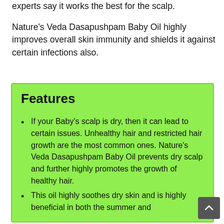experts say it works the best for the scalp.
Nature's Veda Dasapushpam Baby Oil highly improves overall skin immunity and shields it against certain infections also.
Features
If your Baby's scalp is dry, then it can lead to certain issues. Unhealthy hair and restricted hair growth are the most common ones. Nature's Veda Dasapushpam Baby Oil prevents dry scalp and further highly promotes the growth of healthy hair.
This oil highly soothes dry skin and is highly beneficial in both the summer and